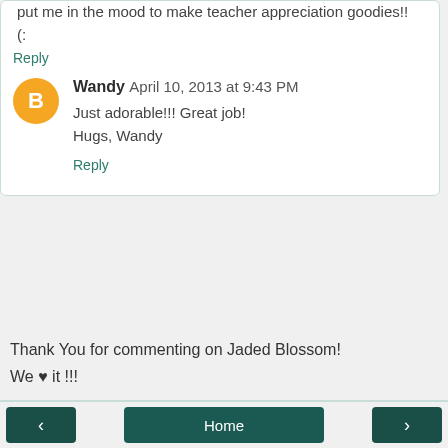put me in the mood to make teacher appreciation goodies!! (:
Reply
Wandy April 10, 2013 at 9:43 PM
Just adorable!!! Great job!
Hugs, Wandy
Reply
Thank You for commenting on Jaded Blossom!
We ♥ it !!!
< Home >